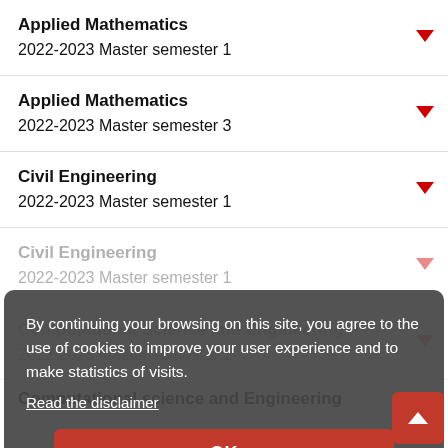Applied Mathematics
2022-2023 Master semester 1
Applied Mathematics
2022-2023 Master semester 3
Civil Engineering
2022-2023 Master semester 1
Civil Engineering
2022-2023 Master semester 1
Computational Science and Engineering
2022-2023 Master semester 1
Computational science and Engineering
By continuing your browsing on this site, you agree to the use of cookies to improve your user experience and to make statistics of visits.
Read the disclaimer